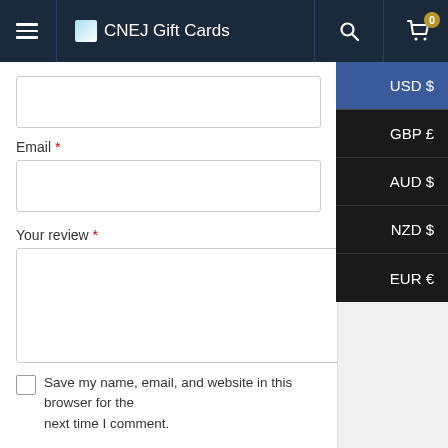[Figure (screenshot): Website navigation bar with hamburger menu, CNEJ Gift Cards logo, search icon, and cart icon with badge showing 0]
Email *
Your review *
Save my name, email, and website in this browser for the next time I comment.
[Figure (screenshot): Currency dropdown overlay showing options: USD $ (selected/highlighted), GBP £, AUD $, NZD $, EUR €]